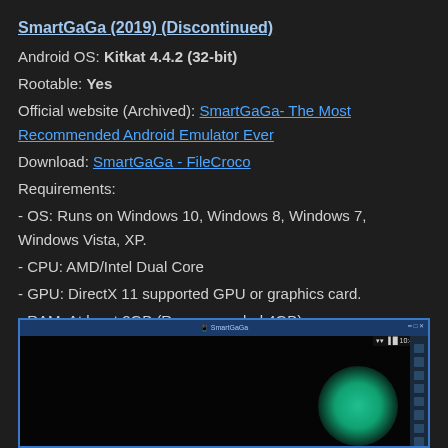SmartGaGa (2019) (Discontinued)
Android OS: Kitkat 4.4.2 (32-bit)
Rootable: Yes
Official website (Archived): SmartGaGa- The Most Recommended Android Emulator Ever
Download: SmartGaGa - FileCroco
Requirements:
- OS: Runs on Windows 10, Windows 8, Windows 7, Windows Vista, XP.
- CPU: AMD/Intel Dual Core
- GPU: DirectX 11 supported GPU or graphics card.
- RAM: At least 2GB (Recommended 4GB)
- Disk: 1GB at least (5GB recommended)
[Figure (screenshot): Screenshot of SmartGaGa emulator application window showing a dark Android desktop with a teal/green gradient glow in the lower right area, status bar showing 10:47, and a sidebar with icons on the right edge.]